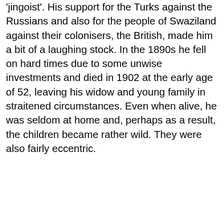'jingoist'. His support for the Turks against the Russians and also for the people of Swaziland against their colonisers, the British, made him a bit of a laughing stock. In the 1890s he fell on hard times due to some unwise investments and died in 1902 at the early age of 52, leaving his widow and young family in straitened circumstances. Even when alive, he was seldom at home and, perhaps as a result, the children became rather wild. They were also fairly eccentric.